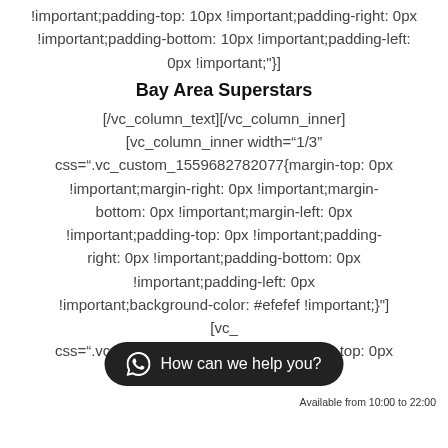!important;padding-top: 10px !important;padding-right: 0px !important;padding-bottom: 10px !important;padding-left: 0px !important;"]
Bay Area Superstars
[/vc_column_text][/vc_column_inner]
[vc_column_inner width="1/3"
css=".vc_custom_1559682782077{margin-top: 0px !important;margin-right: 0px !important;margin-bottom: 0px !important;margin-left: 0px !important;padding-top: 0px !important;padding-right: 0px !important;padding-bottom: 0px !important;padding-left: 0px !important;background-color: #efefef !important;"]
[vc_
css=".vc_custom_1562115215791{margin-top: 0px
[Figure (screenshot): Chat widget with dark rounded pill button showing WhatsApp icon and text 'How can we help you?' with subtext 'Available from 10:00 to 22:00']